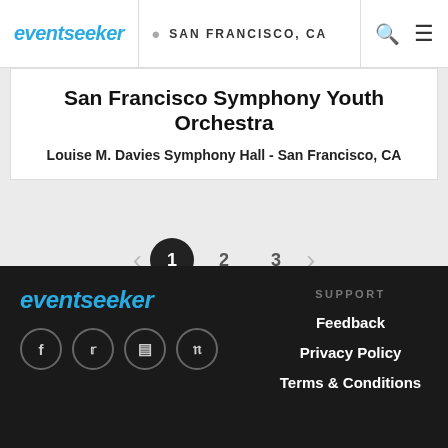eventseeker | SAN FRANCISCO, CA
San Francisco Symphony Youth Orchestra
Louise M. Davies Symphony Hall - San Francisco, CA
< 1 2 3 >
[Figure (logo): eventseeker logo in blue italic text with social media icons (Facebook, Twitter, Instagram, Pinterest)]
SUPPORT
Feedback
Privacy Policy
Terms & Conditions